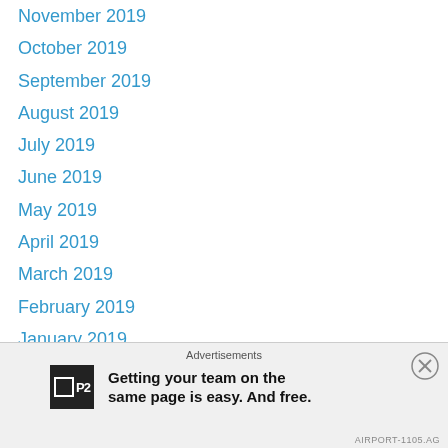November 2019
October 2019
September 2019
August 2019
July 2019
June 2019
May 2019
April 2019
March 2019
February 2019
January 2019
December 2018
November 2018
October 2018
September 2018
August 2018
July 2018
Advertisements
Getting your team on the same page is easy. And free.